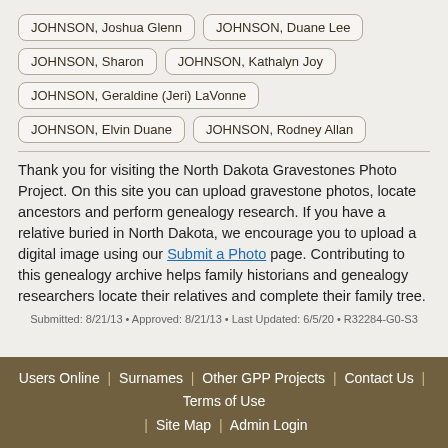JOHNSON, Joshua Glenn
JOHNSON, Duane Lee
JOHNSON, Sharon
JOHNSON, Kathalyn Joy
JOHNSON, Geraldine (Jeri) LaVonne
JOHNSON, Elvin Duane
JOHNSON, Rodney Allan
Thank you for visiting the North Dakota Gravestones Photo Project. On this site you can upload gravestone photos, locate ancestors and perform genealogy research. If you have a relative buried in North Dakota, we encourage you to upload a digital image using our Submit a Photo page. Contributing to this genealogy archive helps family historians and genealogy researchers locate their relatives and complete their family tree.
Submitted: 8/21/13 • Approved: 8/21/13 • Last Updated: 6/5/20 • R32284-G0-S3
Users Online | Surnames | Other GPP Projects | Contact Us | Terms of Use | Site Map | Admin Login